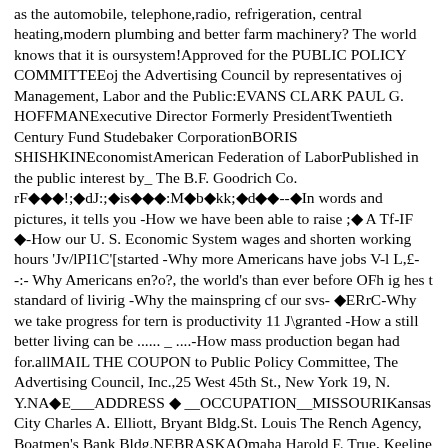as the automobile, telephone,radio, refrigeration, central heating,modern plumbing and better farm machinery? The world knows that it is oursystem!Approved for the PUBLIC POLICY COMMITTEEoj the Advertising Council by representatives oj Management, Labor and the Public:EVANS CLARK PAUL G. HOFFMANExecutive Director Formerly PresidentTwentieth Century Fund Studebaker CorporationBORIS SHISHKINEconomistAmerican Federation of LaborPublished in the public interest by_ The B.F. Goodrich Co. rF◆◆◆!;◆dJ:;◆is◆◆◆:M◆b◆kk;◆d◆◆--◆In words and pictures, it tells you -How we have been able to raise ;◆ A Tf-IF ◆-How our U. S. Economic System wages and shorten working hours 'Jv/lPI1C'[started -Why more Americans have jobs V-l L,£--:- Why Americans en?o?, the world's than ever before OFh ig hes t standard of livirig -Why the mainspring cf our svs- ◆ERrC-Why we take progress for tern is productivity 11 J\granted -How a still better living can be ...... _ ....-How mass production began had for.allMAIL THE COUPON to Public Policy Committee, The Advertising Council, Inc.,25 West 45th St., New York 19, N. Y.NA◆E___ADDRESS ◆ __OCCUPATION__MISSOURIKansas City Charles A. Elliott, Bryant Bldg.St. Louis The Rench Agency, Boatmen's Bank Bldg.NEBRASKAOmaha Harold F. True, Keeline Bldg.NEW HAMPSHIRE'Manchester Wellman.Burroughs Agency, 886 Elm StreetNEW JERSEYNewarkNEW YORKAlbany R. Roy Casey,